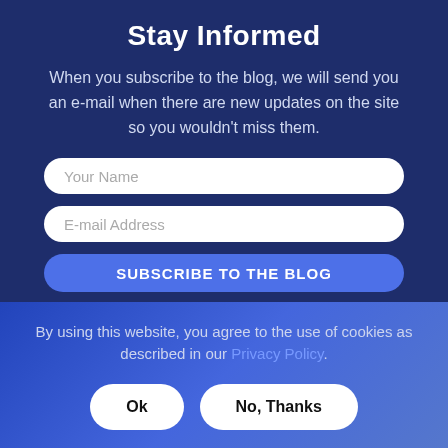Stay Informed
When you subscribe to the blog, we will send you an e-mail when there are new updates on the site so you wouldn't miss them.
[Figure (screenshot): Input field with placeholder text 'Your Name']
[Figure (screenshot): Input field with placeholder text 'E-mail Address']
[Figure (screenshot): Button labeled 'SUBSCRIBE TO THE BLOG']
By using this website, you agree to the use of cookies as described in our Privacy Policy.
[Figure (screenshot): Two buttons: 'Ok' and 'No, Thanks']